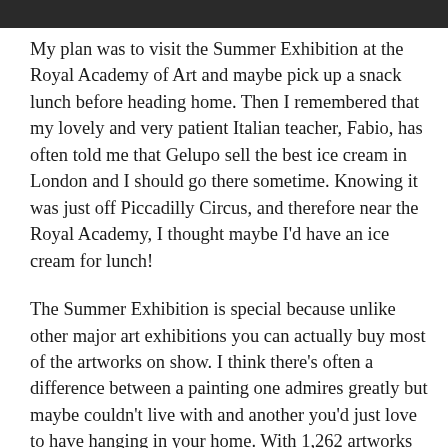[Figure (photo): Partial image visible at the top of the page, appears to be a cropped photograph with dark tones.]
My plan was to visit the Summer Exhibition at the Royal Academy of Art and maybe pick up a snack lunch before heading home. Then I remembered that my lovely and very patient Italian teacher, Fabio, has often told me that Gelupo sell the best ice cream in London and I should go there sometime. Knowing it was just off Piccadilly Circus, and therefore near the Royal Academy, I thought maybe I'd have an ice cream for lunch!
The Summer Exhibition is special because unlike other major art exhibitions you can actually buy most of the artworks on show. I think there's often a difference between a painting one admires greatly but maybe couldn't live with and another you'd just love to have hanging in your home. With 1,262 artworks to look at, I went with a buyer's eye for fun – even though there wasn't much chance of my actually buying one! – and focused on the ones that caught my eye and I felt I could